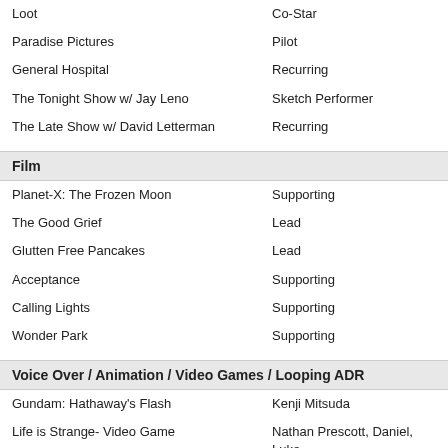Loot | Co-Star
Paradise Pictures | Pilot
General Hospital | Recurring
The Tonight Show w/ Jay Leno | Sketch Performer
The Late Show w/ David Letterman | Recurring
Film
Planet-X: The Frozen Moon | Supporting
The Good Grief | Lead
Glutten Free Pancakes | Lead
Acceptance | Supporting
Calling Lights | Supporting
Wonder Park | Supporting
Voice Over / Animation / Video Games / Looping ADR
Gundam: Hathaway's Flash | Kenji Mitsuda
Life is Strange- Video Game | Nathan Prescott, Daniel, Luke
Prisoners | Jake Gyllenhaal voice match